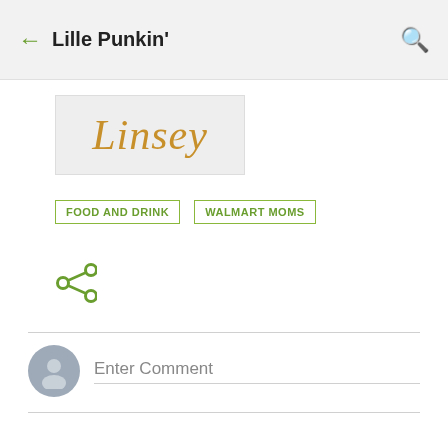← Lille Punkin'
[Figure (logo): Linsey cursive signature logo on light grey background]
FOOD AND DRINK
WALMART MOMS
[Figure (other): Share icon (less-than with dots)]
Enter Comment